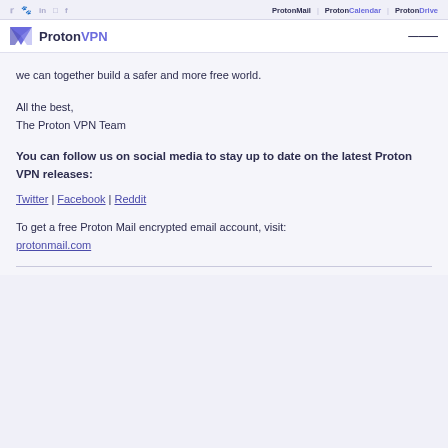Twitter Reddit LinkedIn Instagram Facebook | Proton Mail | Proton Calendar | Proton Drive
ProtonVPN
we can together build a safer and more free world.
All the best,
The Proton VPN Team
You can follow us on social media to stay up to date on the latest Proton VPN releases:
Twitter | Facebook | Reddit
To get a free Proton Mail encrypted email account, visit:
protonmail.com